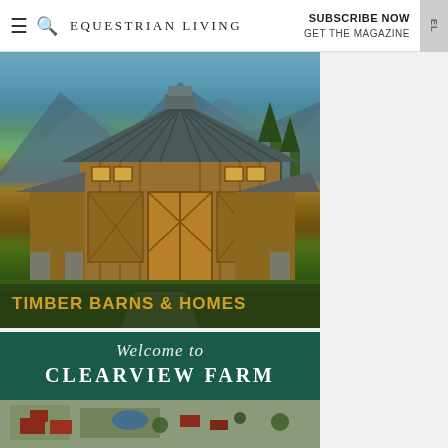≡ 🔍 EQUESTRIAN LIVING | SUBSCRIBE NOW GET THE MAGAZINE
[Figure (photo): Timber frame barn with metal roof against mountain backdrop, with text overlay 'TIMBER BARNS & HOMES']
[Figure (photo): Clearview Farm promotional image with teal/green background, script 'Welcome to' and bold 'CLEARVIEW FARM' text, aerial farm view below]